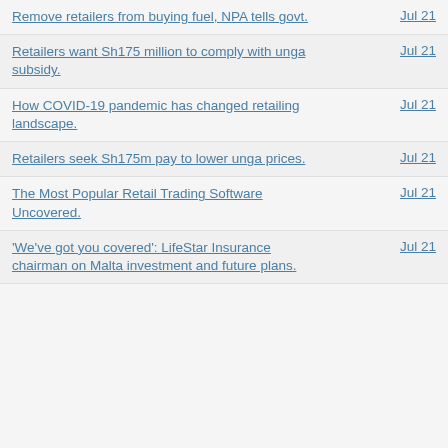Remove retailers from buying fuel, NPA tells govt. | Jul 21
Retailers want Sh175 million to comply with unga subsidy. | Jul 21
How COVID-19 pandemic has changed retailing landscape. | Jul 21
Retailers seek Sh175m pay to lower unga prices. | Jul 21
The Most Popular Retail Trading Software Uncovered. | Jul 21
'We've got you covered': LifeStar Insurance chairman on Malta investment and future plans. | Jul 21